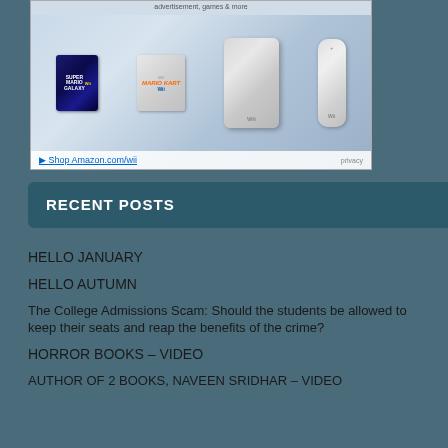[Figure (advertisement): Amazon Wii advertisement showing Super Mario Galaxy game box, Mario Kart Wii game box, Wii console, and Wii remote with 'Shop Amazon.com/wii' link and 'privacy' text]
RECENT POSTS
HELLO JANUARY
HELLO AUTUMN
The College Admissions Scam: Should the students be allowed to keep their seats and reap the benefits of the crime?
HORROR BOOKS – VIDEO
AUTHOR OF 2 BOOKS, NAVEEN SRIDHAR – Video